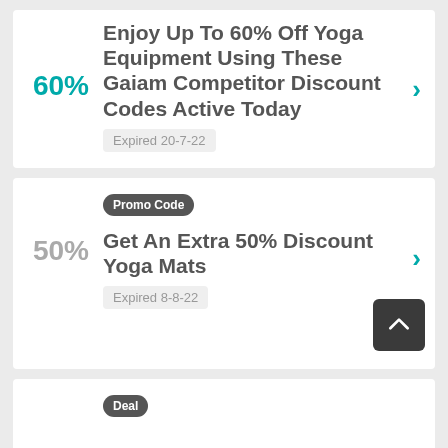60%
Enjoy Up To 60% Off Yoga Equipment Using These Gaiam Competitor Discount Codes Active Today
Expired 20-7-22
Promo Code
50%
Get An Extra 50% Discount Yoga Mats
Expired 8-8-22
Deal